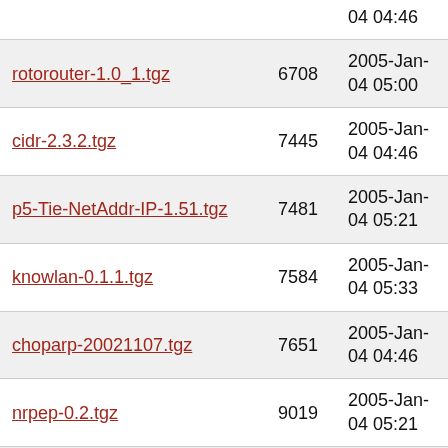| Filename | Size | Date |
| --- | --- | --- |
| (partial top row) |  | 04 04:46 |
| rotorouter-1.0_1.tgz | 6708 | 2005-Jan-04 05:00 |
| cidr-2.3.2.tgz | 7445 | 2005-Jan-04 04:46 |
| p5-Tie-NetAddr-IP-1.51.tgz | 7481 | 2005-Jan-04 05:21 |
| knowlan-0.1.1.tgz | 7584 | 2005-Jan-04 05:33 |
| choparp-20021107.tgz | 7651 | 2005-Jan-04 04:46 |
| nrpep-0.2.tgz | 9019 | 2005-Jan-04 05:21 |
| nsc-0.52.tgz | 9810 | 2005-Jan-04 05:14 |
| scdp-1.0.b_1.tgz | 9934 | 2005-Jan-04 06:08 |
| cdpd-1.0.2.tgz | 10491 | 2005-Jan-04 05:33 |
| cisco_conf-1.1.tgz | 10562 | 2005-Jan-04 05:15 |
| ipcalc-0.38.tgz | 10634 | 2005-Jan-04 (partial) |